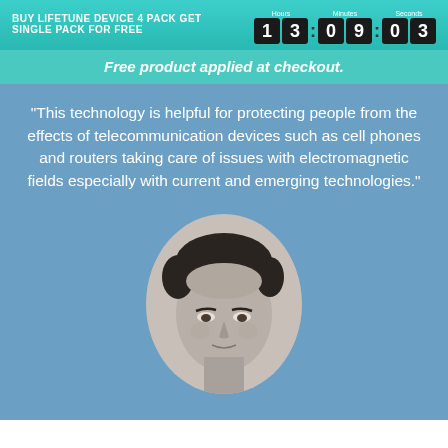BUY LIFETUNE DEVICE 4 PACK GET SINGLE PACK FOR FREE  13 : 09 : 03
Free product applied at checkout.
"This technology is helpful for protecting people from the effects of telecommunication devices such as cell phones and routers taking care of issues with electromagnetic fields especially with current and emerging technologies."
[Figure (photo): Black and white portrait photo of a middle-aged man with dark hair, shown from shoulders up in an oval frame against a blue background.]